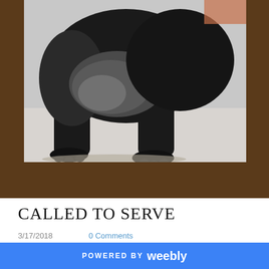[Figure (photo): Close-up photo of a black bear walking on a light-colored surface. The image shows the bear's body from the neck down, with dark fur and paws visible against a grey/white background. The photo is framed within a wider dark brown background.]
CALLED TO SERVE
3/17/2018    0 Comments
POWERED BY weebly